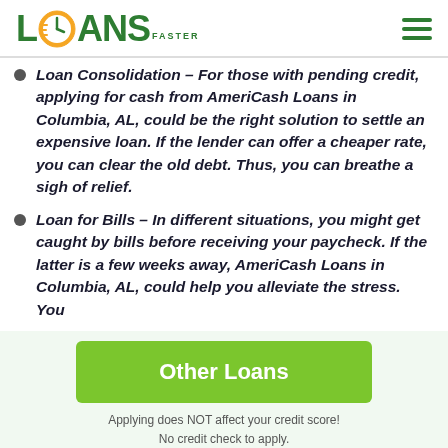LOANS FASTER
Loan Consolidation – For those with pending credit, applying for cash from AmeriCash Loans in Columbia, AL, could be the right solution to settle an expensive loan. If the lender can offer a cheaper rate, you can clear the old debt. Thus, you can breathe a sigh of relief.
Loan for Bills – In different situations, you might get caught by bills before receiving your paycheck. If the latter is a few weeks away, AmeriCash Loans in Columbia, AL, could help you alleviate the stress. You
Other Loans
Applying does NOT affect your credit score!
No credit check to apply.